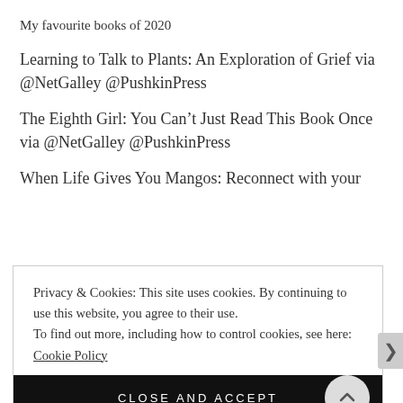My favourite books of 2020
Learning to Talk to Plants: An Exploration of Grief via @NetGalley @PushkinPress
The Eighth Girl: You Can’t Just Read This Book Once via @NetGalley @PushkinPress
When Life Gives You Mangos: Reconnect with your
Privacy & Cookies: This site uses cookies. By continuing to use this website, you agree to their use.
To find out more, including how to control cookies, see here: Cookie Policy
CLOSE AND ACCEPT